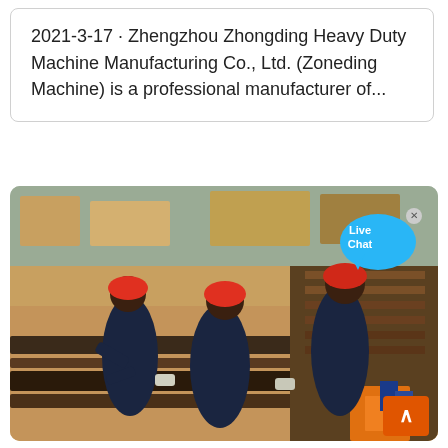2021-3-17 · Zhengzhou Zhongding Heavy Duty Machine Manufacturing Co., Ltd. (Zoneding Machine) is a professional manufacturer of...
[Figure (photo): Workers in blue uniforms and red hard hats handling heavy steel beams or rails at a construction/manufacturing site. A 'Live Chat' chat bubble overlay is visible in the top-right of the image. A scroll-to-top orange button is in the bottom-right corner.]